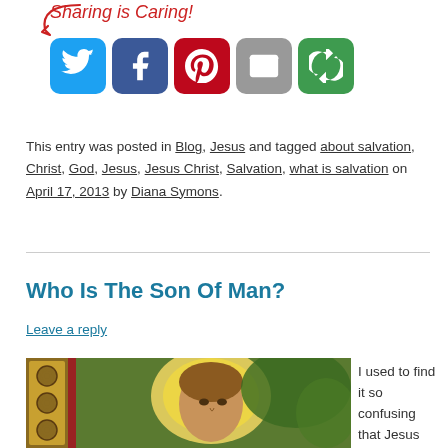[Figure (infographic): Sharing social media icons: Twitter (blue), Facebook (dark blue), Pinterest (red), Email (gray), More (green), with cursive red 'Sharing is Caring!' text and a red arrow]
This entry was posted in Blog, Jesus and tagged about salvation, Christ, God, Jesus, Jesus Christ, Salvation, what is salvation on April 17, 2013 by Diana Symons.
Who Is The Son Of Man?
Leave a reply
[Figure (photo): Stained glass image depicting the face of Jesus with a halo, surrounded by green foliage]
I used to find it so confusing that Jesus